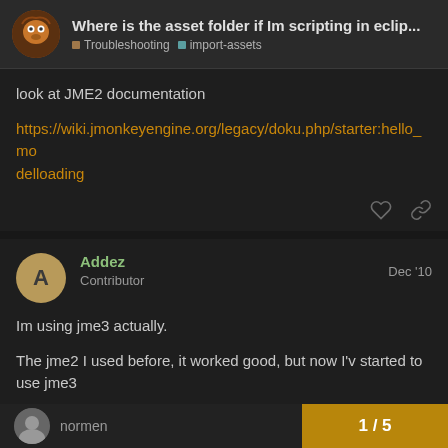Where is the asset folder if Im scripting in eclip... | Troubleshooting | import-assets
look at JME2 documentation
https://wiki.jmonkeyengine.org/legacy/doku.php/starter:hello_modelloading
Addez  Contributor  Dec '10
Im using jme3 actually.
The jme2 I used before, it worked good, but now I'v started to use jme3
normen
1 / 5